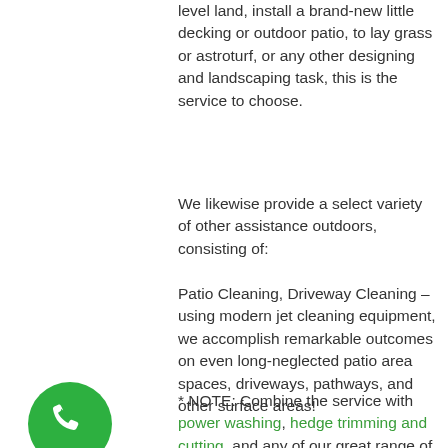level land, install a brand-new little decking or outdoor patio, to lay grass or astroturf, or any other designing and landscaping task, this is the service to choose.
We likewise provide a select variety of other assistance outdoors, consisting of:
Patio Cleaning, Driveway Cleaning – using modern jet cleaning equipment, we accomplish remarkable outcomes on even long-neglected patio area spaces, driveways, pathways, and other surface areas!
* NOTE: Combine the service with power washing, hedge trimming and cutting, and any of our great range of